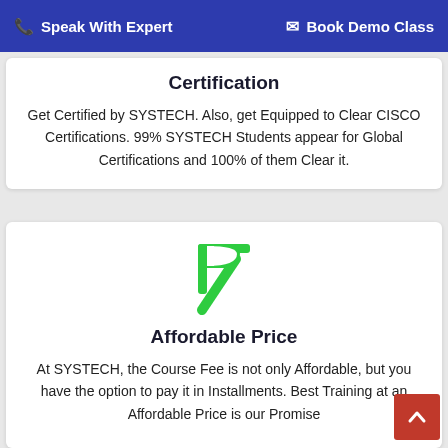📞 Speak With Expert    ✉ Book Demo Class
Certification
Get Certified by SYSTECH. Also, get Equipped to Clear CISCO Certifications. 99% SYSTECH Students appear for Global Certifications and 100% of them Clear it.
[Figure (illustration): Green Indian Rupee currency symbol icon]
Affordable Price
At SYSTECH, the Course Fee is not only Affordable, but you have the option to pay it in Installments. Best Training at an Affordable Price is our Promise